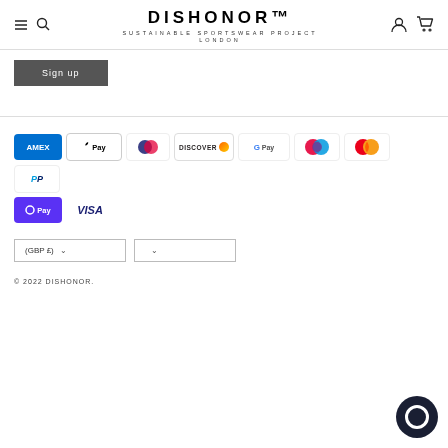DISHONOR™ SUSTAINABLE SPORTSWEAR PROJECT LONDON
Sign up
[Figure (logo): Payment method icons: Amex, Apple Pay, Diners, Discover, Google Pay, Maestro, Mastercard, PayPal, O Pay, Visa]
(GBP £) [dropdown] [dropdown]
© 2022 DISHONOR.